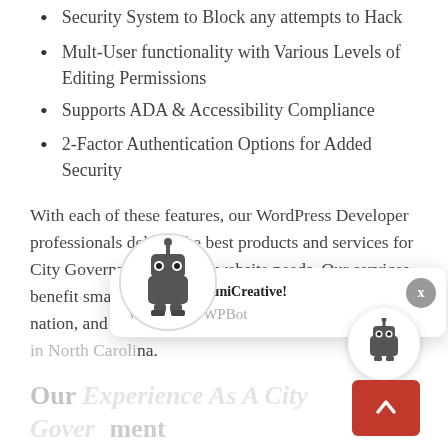Security System to Block any attempts to Hack
Mult-User functionality with Various Levels of Editing Permissions
Supports ADA & Accessibility Compliance
2-Factor Authentication Options for Added Security
With each of these features, our WordPress Developer professionals deliver the best products and services for City Government specific website needs. Our services benefit small towns and big cities alike across the nation, and we can help your City Government website in North Carolina.
Our Experience As A City Government WordPress Developer in North Carolina and Across America
Since 2001, we've offered award-winning services and
[Figure (illustration): Chat popup overlay showing 'Welcome to MuniCreative!' and 'Welcome to WPBot' with a robot mascot icon, close button, and a second robot icon on the right side. A red scroll-to-top button is also visible.]